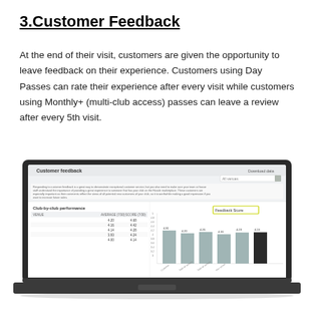3.Customer Feedback
At the end of their visit, customers are given the opportunity to leave feedback on their experience. Customers using Day Passes can rate their experience after every visit while customers using Monthly+ (multi-club access) passes can leave a review after every 5th visit.
[Figure (screenshot): Laptop screen showing a Customer feedback dashboard with a 'Club-by-club performance' table and a 'Feedback Score' bar chart displaying scores: 4.31, 4.20, 4.26, 4.16, 4.23, 4.24]